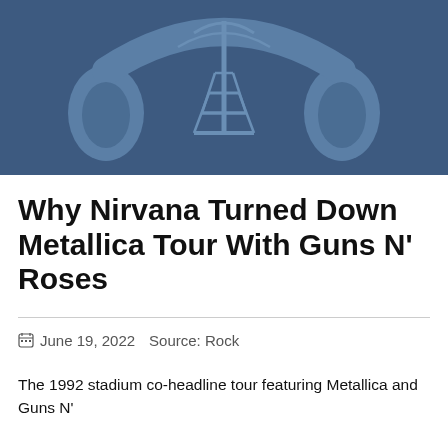[Figure (illustration): Logo or banner image with blue background showing stylized headphones and a radio tower graphic in a lighter blue tone]
Why Nirvana Turned Down Metallica Tour With Guns N' Roses
June 19, 2022   Source: Rock
The 1992 stadium co-headline tour featuring Metallica and Guns N'